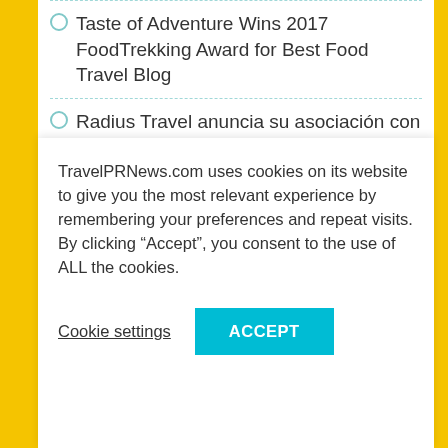Taste of Adventure Wins 2017 FoodTrekking Award for Best Food Travel Blog
Radius Travel anuncia su asociación con mTrip en soluciones móviles para empresas
B&B Hotels selects Vertical Booking CRS for enterprise hotel distribution across their 400 hotels (external link)
Cabin Crew Recruitment Days taking place in Brussels, Belgium (external link)
CATHY HOLLER AND PAT LISTA JOIN TULLY
TravelPRNews.com uses cookies on its website to give you the most relevant experience by remembering your preferences and repeat visits. By clicking "Accept", you consent to the use of ALL the cookies.
Cookie settings
ACCEPT